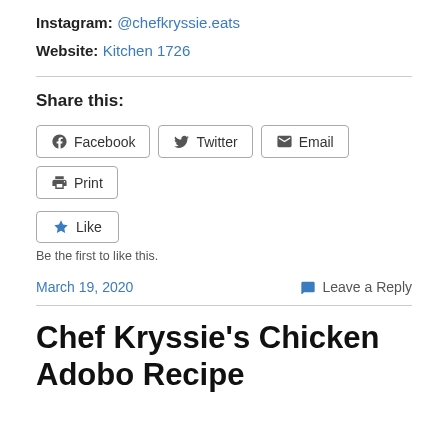Instagram: @chefkryssie.eats
Website: Kitchen 1726
Share this:
Facebook  Twitter  Email  Print
Like
Be the first to like this.
March 19, 2020    Leave a Reply
Chef Kryssie’s Chicken Adobo Recipe